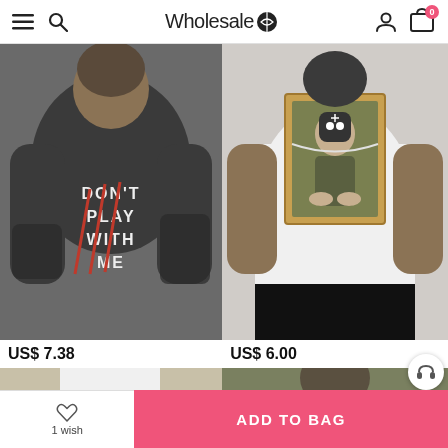Wholesale7 — navigation header with menu, search, logo, user account, and cart (0 items)
[Figure (photo): Man wearing dark graphic t-shirt with text 'DON'T PLAY WITH ME' and red claw marks, showing tattoos]
US$ 7.38
[Figure (photo): Man showing back of white t-shirt with a parody Mona Lisa painting graphic wearing a ski mask]
US$ 6.00
[Figure (photo): Partial view of a white t-shirt product (cropped)]
[Figure (photo): Partial view of a dark clothing product (cropped)]
1 wish  |  ADD TO BAG